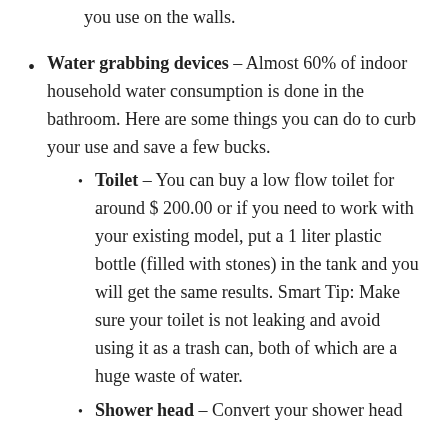you use on the walls.
Water grabbing devices – Almost 60% of indoor household water consumption is done in the bathroom. Here are some things you can do to curb your use and save a few bucks.
Toilet – You can buy a low flow toilet for around $ 200.00 or if you need to work with your existing model, put a 1 liter plastic bottle (filled with stones) in the tank and you will get the same results. Smart Tip: Make sure your toilet is not leaking and avoid using it as a trash can, both of which are a huge waste of water.
Shower head – Convert your shower head